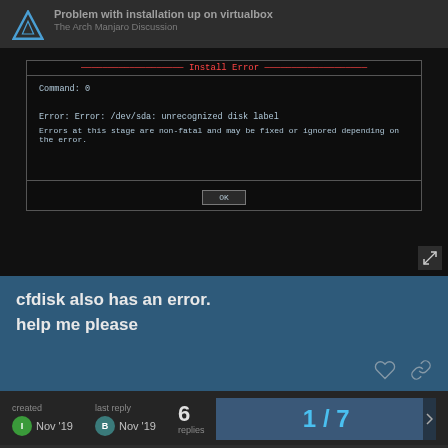Problem with installation up on virtualbox — The Arch Manjaro Discussion
[Figure (screenshot): Terminal dialog box showing Install Error with message: Command: 0, Error: Error: /dev/sda: unrecognized disk label, Errors at this stage are non-fatal and may be fixed or ignored depending on the error. With an OK button at the bottom.]
cfdisk also has an error.
help me please
created Nov '19   last reply Nov '19   6 replies   1/7